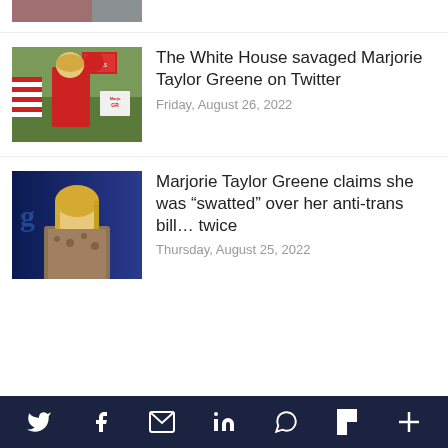[Figure (photo): Partial cropped photo at top of page, bottom portion of an image visible]
[Figure (photo): Photo of Marjorie Taylor Greene speaking at a rally, wearing red, outdoors with protest signs]
The White House savaged Marjorie Taylor Greene on Twitter
Friday, August 26, 2022
[Figure (photo): Photo of Marjorie Taylor Greene speaking into a microphone, dark blue background]
Marjorie Taylor Greene claims she was “swatted” over her anti-trans bill… twice
Thursday, August 25, 2022
Twitter  Facebook  Email  LinkedIn  WhatsApp  Flipboard  More